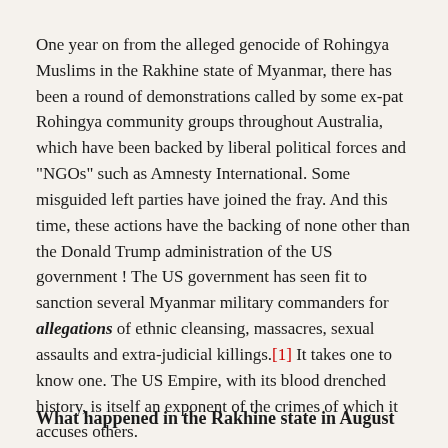One year on from the alleged genocide of Rohingya Muslims in the Rakhine state of Myanmar, there has been a round of demonstrations called by some ex-pat Rohingya community groups throughout Australia, which have been backed by liberal political forces and "NGOs" such as Amnesty International. Some misguided left parties have joined the fray. And this time, these actions have the backing of none other than the Donald Trump administration of the US government ! The US government has seen fit to sanction several Myanmar military commanders for allegations of ethnic cleansing, massacres, sexual assaults and extra-judicial killings.[1] It takes one to know one. The US Empire, with its blood drenched history, is itself an exponent of the crimes of which it accuses others.
What happened in the Rakhine state in August 2017?